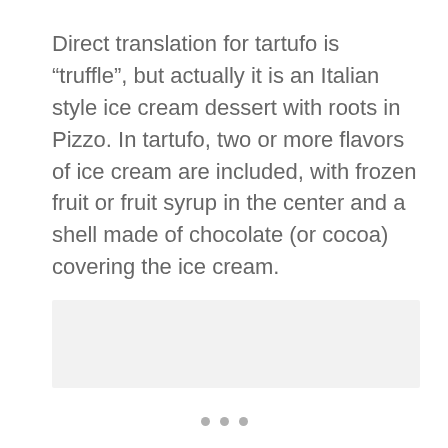Direct translation for tartufo is “truffle”, but actually it is an Italian style ice cream dessert with roots in Pizzo. In tartufo, two or more flavors of ice cream are included, with frozen fruit or fruit syrup in the center and a shell made of chocolate (or cocoa) covering the ice cream.
[Figure (other): Light gray rectangular placeholder image area]